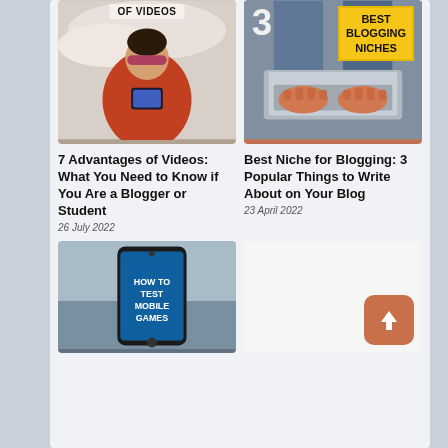[Figure (photo): Top-left blog card image: person lying in bed using a smartphone, wearing a red jacket and sleep mask on forehead. Overlay text reads 'OF VIDEOS'.]
[Figure (photo): Top-right blog card image: overhead view of person's hands typing on a laptop. Yellow box overlay reads 'BEST BLOGGING NICHES' with large '3' numeral.]
7 Advantages of Videos: What You Need to Know if You Are a Blogger or Student
26 July 2022
Best Niche for Blogging: 3 Popular Things to Write About on Your Blog
23 April 2022
[Figure (photo): Bottom-left blog card image: smartphone displaying text 'HOW TO TEST MOBILE GAMES' on screen, with blurred background.]
[Figure (infographic): Scroll-to-top button: rounded orange/brown square with white upward arrow icon.]